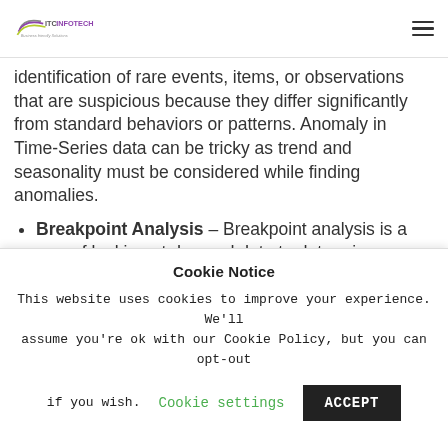ITC INFOTECH — Business friendly Solutions
identification of rare events, items, or observations that are suspicious because they differ significantly from standard behaviors or patterns. Anomaly in Time-Series data can be tricky as trend and seasonality must be considered while finding anomalies.
Breakpoint Analysis – Breakpoint analysis is a way of looking at demand data to determine
Cookie Notice
This website uses cookies to improve your experience. We'll assume you're ok with our Cookie Policy, but you can opt-out if you wish.
Cookie settings  ACCEPT